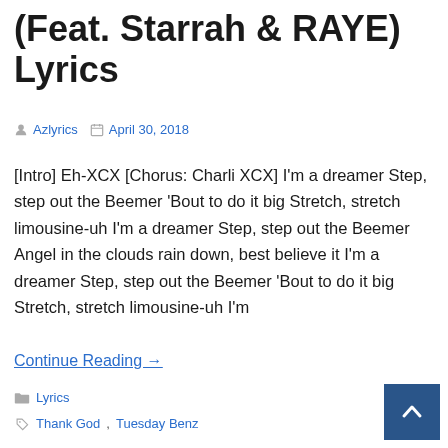(Feat. Starrah & RAYE) Lyrics
Azlyrics   April 30, 2018
[Intro] Eh-XCX [Chorus: Charli XCX] I'm a dreamer Step, step out the Beemer 'Bout to do it big Stretch, stretch limousine-uh I'm a dreamer Step, step out the Beemer Angel in the clouds rain down, best believe it I'm a dreamer Step, step out the Beemer 'Bout to do it big Stretch, stretch limousine-uh I'm
Continue Reading →
Lyrics
Thank God, Tuesday Benz